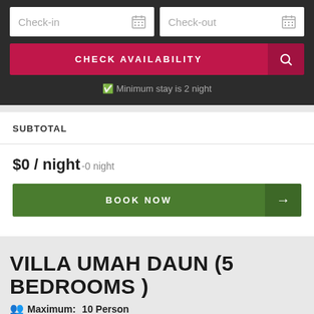[Figure (screenshot): Check-in date input field with calendar icon]
[Figure (screenshot): Check-out date input field with calendar icon]
CHECK AVAILABILITY
Minimum stay is 2 night
SUBTOTAL
$0 / night -0 night
BOOK NOW
VILLA UMAH DAUN (5 BEDROOMS )
Maximum: 10 Person